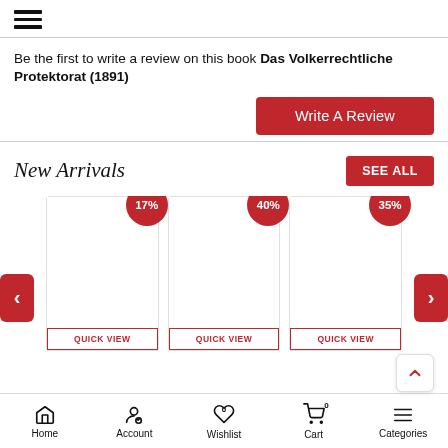≡ (hamburger menu icon)
Be the first to write a review on this book Das Volkerrechtliche Protektorat (1891)
Write A Review
New Arrivals
SEE ALL
[Figure (screenshot): Three product cards in a carousel with discount badges: 17%, 40%, 35%. Each card has a QUICK VIEW button at the bottom. Navigation arrows on left and right sides.]
Home | Account | Wishlist (0) | Cart (0) | Categories